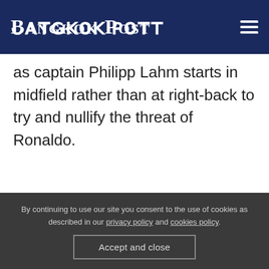Bangkok Post
as captain Philipp Lahm starts in midfield rather than at right-back to try and nullify the threat of Ronaldo.
By continuing to use our site you consent to the use of cookies as described in our privacy policy and cookies policy. Accept and close